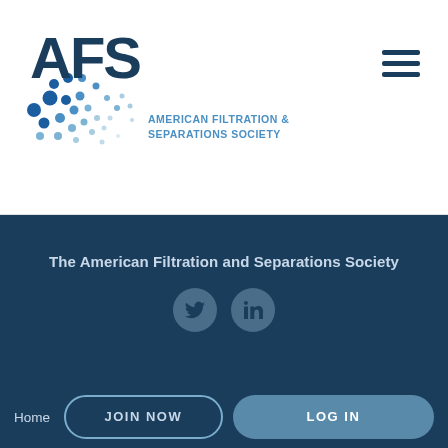[Figure (logo): AFS American Filtration & Separations Society logo with dot-pattern graphic and blue text]
[Figure (other): Hamburger menu icon (three horizontal lines) in dark blue]
The American Filtration and Separations Society
[Figure (other): Twitter and LinkedIn social media icons as grey circles]
Home
JOIN NOW
LOG IN